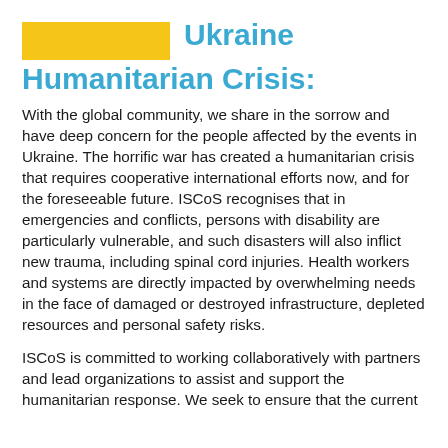Ukraine Humanitarian Crisis:
With the global community, we share in the sorrow and have deep concern for the people affected by the events in Ukraine. The horrific war has created a humanitarian crisis that requires cooperative international efforts now, and for the foreseeable future. ISCoS recognises that in emergencies and conflicts, persons with disability are particularly vulnerable, and such disasters will also inflict new trauma, including spinal cord injuries. Health workers and systems are directly impacted by overwhelming needs in the face of damaged or destroyed infrastructure, depleted resources and personal safety risks.
ISCoS is committed to working collaboratively with partners and lead organizations to assist and support the humanitarian response. We seek to ensure that the current